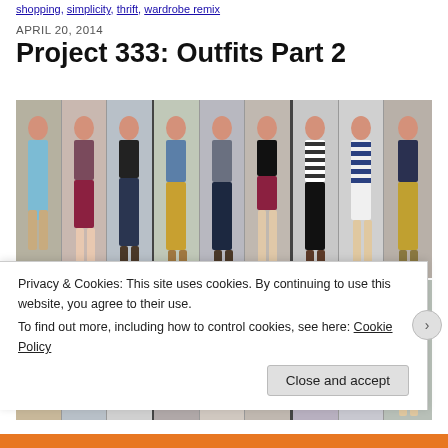shopping, simplicity, thrift, wardrobe remix
APRIL 20, 2014
Project 333: Outfits Part 2
[Figure (photo): Two rows of photos showing a young woman with red hair posing in various outfits against a white door/window background. Top row has 9 photos, bottom row shows partial images of more outfit combinations.]
Privacy & Cookies: This site uses cookies. By continuing to use this website, you agree to their use.
To find out more, including how to control cookies, see here: Cookie Policy
Close and accept